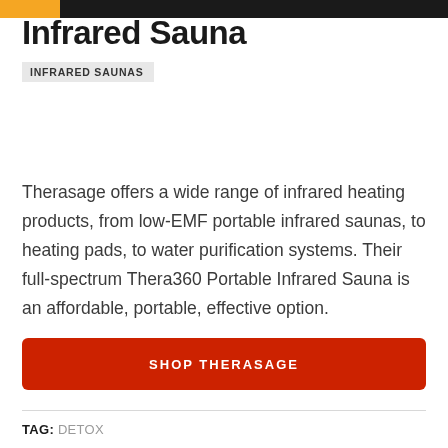Therasage Thera360 Portable Infrared Sauna
Infrared Sauna
INFRARED SAUNAS
Therasage offers a wide range of infrared heating products, from low-EMF portable infrared saunas, to heating pads, to water purification systems. Their full-spectrum Thera360 Portable Infrared Sauna is an affordable, portable, effective option.
SHOP THERASAGE
TAG: DETOX